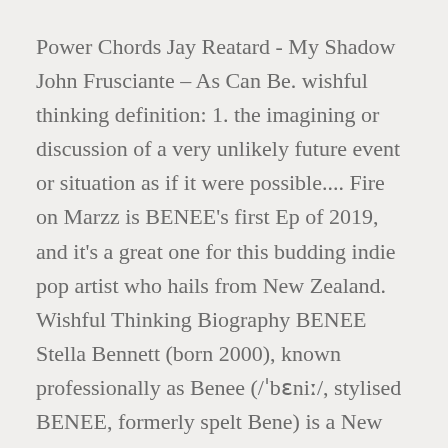Power Chords Jay Reatard - My Shadow John Frusciante – As Can Be. wishful thinking definition: 1. the imagining or discussion of a very unlikely future event or situation as if it were possible.... Fire on Marzz is BENEE's first Ep of 2019, and it's a great one for this budding indie pop artist who hails from New Zealand. Wishful Thinking Biography BENEE Stella Bennett (born 2000), known professionally as Benee (/ˈbɛniː/, stylised BENEE, formerly spelt Bene) is a New Zealand musician from Grey Lynn in Auckland.BENEE began her music career by posting covers to SoundCloud, and began making her own music in her final year of high school. })(); We use cookies to give you